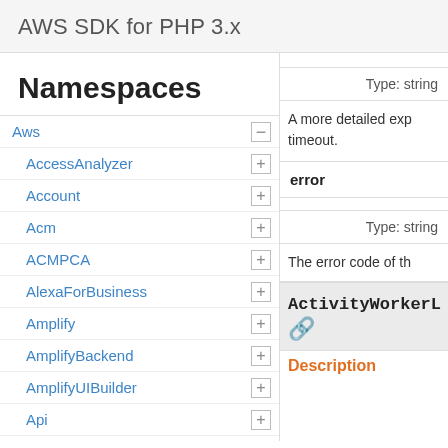AWS SDK for PHP 3.x
Namespaces
Aws
AccessAnalyzer
Account
Acm
ACMPCA
AlexaForBusiness
Amplify
AmplifyBackend
AmplifyUIBuilder
Api
ApiGateway
ApiGatewayManagementApi
Type: string
A more detailed exp... timeout.
error
Type: string
The error code of th...
ActivityWorkerL
Description